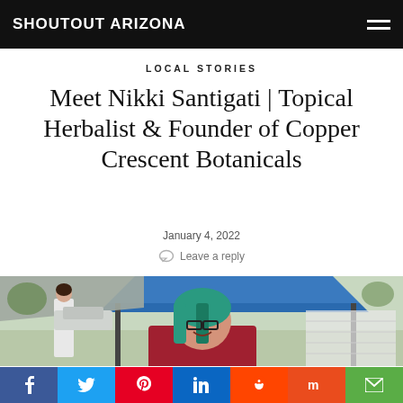SHOUTOUT ARIZONA
LOCAL STORIES
Meet Nikki Santigati | Topical Herbalist & Founder of Copper Crescent Botanicals
January 4, 2022
Leave a reply
[Figure (photo): Woman with teal/green hair and glasses smiling at an outdoor market with a blue canopy tent, another woman in white coat in background]
Social share buttons: Facebook, Twitter, Pinterest, LinkedIn, Reddit, Mix, Email